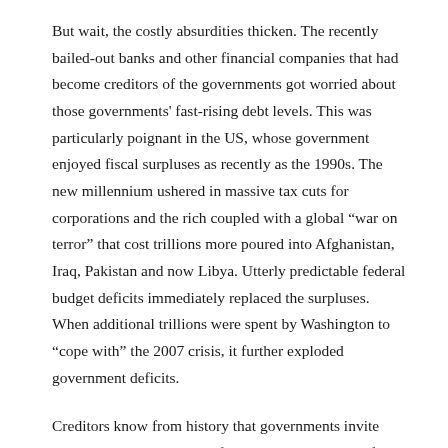But wait, the costly absurdities thicken. The recently bailed-out banks and other financial companies that had become creditors of the governments got worried about those governments' fast-rising debt levels. This was particularly poignant in the US, whose government enjoyed fiscal surpluses as recently as the 1990s. The new millennium ushered in massive tax cuts for corporations and the rich coupled with a global “war on terror” that cost trillions more poured into Afghanistan, Iraq, Pakistan and now Libya. Utterly predictable federal budget deficits immediately replaced the surpluses. When additional trillions were spent by Washington to “cope with” the 2007 crisis, it further exploded government deficits.
Creditors know from history that governments invite political trouble with such fast-rising debt levels. After all,